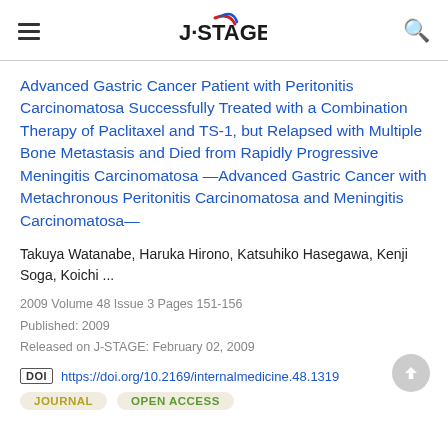J-STAGE
Advanced Gastric Cancer Patient with Peritonitis Carcinomatosa Successfully Treated with a Combination Therapy of Paclitaxel and TS-1, but Relapsed with Multiple Bone Metastasis and Died from Rapidly Progressive Meningitis Carcinomatosa —Advanced Gastric Cancer with Metachronous Peritonitis Carcinomatosa and Meningitis Carcinomatosa—
Takuya Watanabe, Haruka Hirono, Katsuhiko Hasegawa, Kenji Soga, Koichi ...
2009 Volume 48 Issue 3 Pages 151-156
Published: 2009
Released on J-STAGE: February 02, 2009
DOI https://doi.org/10.2169/internalmedicine.48.1319
JOURNAL   OPEN ACCESS